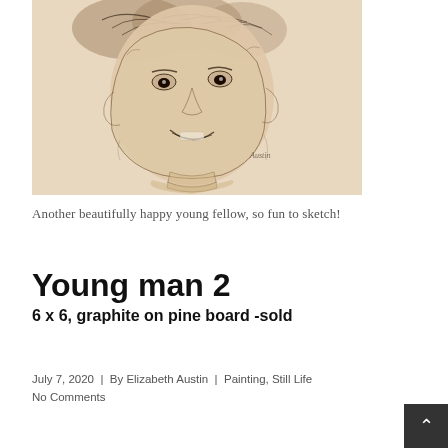[Figure (illustration): A pencil sketch portrait of a young child with short dark hair, smiling, drawn on light-toned paper. The artist's signature 'Austin' is visible in the lower right area of the sketch.]
Another beautifully happy young fellow, so fun to sketch!
Young man 2
6 x 6, graphite on pine board -sold
July 7, 2020  |  By Elizabeth Austin  |  Painting, Still Life  No Comments